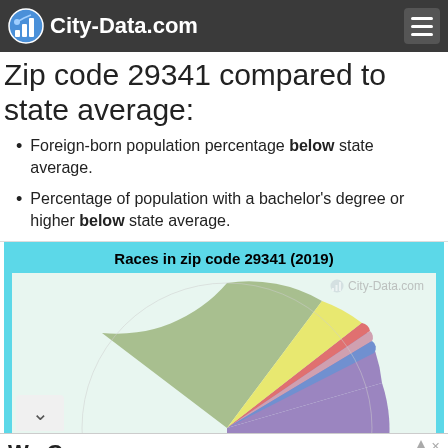City-Data.com
Zip code 29341 compared to state average:
Foreign-born population percentage below state average.
Percentage of population with a bachelor's degree or higher below state average.
[Figure (pie-chart): Pie chart showing racial composition of zip code 29341 in 2019. Slices visible include a large purple slice, a large green slice, a yellow slice, a pink/red slice, and a small blue slice. Watermark: City-Data.com]
We Care
Providing Services for Disabled Children In Need. Begin the Application Process Here. St. Mary's Home